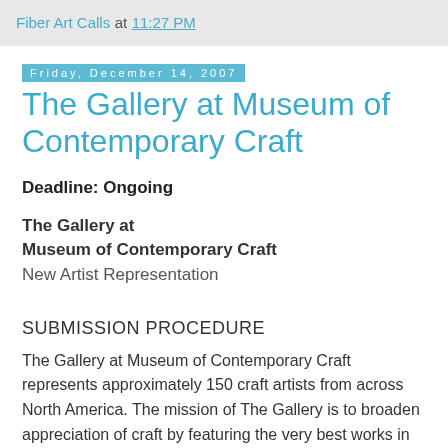Fiber Art Calls at 11:27 PM
Friday, December 14, 2007
The Gallery at Museum of Contemporary Craft
Deadline: Ongoing
The Gallery at
Museum of Contemporary Craft
New Artist Representation
SUBMISSION PROCEDURE
The Gallery at Museum of Contemporary Craft represents approximately 150 craft artists from across North America. The mission of The Gallery is to broaden appreciation of craft by featuring the very best works in each of the five traditional craft media (ceramics, fiber, glass, metal and wood), remaining a fixture in community life, and directing financial...